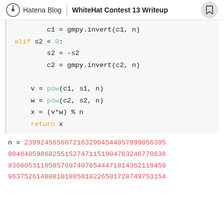Hatena Blog | WhiteHat Contest 13 Writeup
c1 = gmpy.invert(c1, n)
    elif s2 < 0:
        s2 = -s2
        c2 = gmpy.invert(c2, n)

    v = pow(c1, s1, n)
    w = pow(c2, s2, n)
    x = (v*w) % n
    return x

n = 23992456508721632904544057999056395984840598682551527471151904763246778638836805311058576074076544471814362118450963752614808101805018226501728749753154